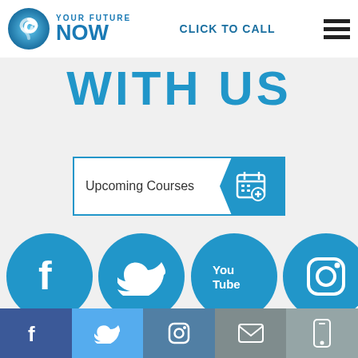YOUR FUTURE NOW — CLICK TO CALL
WITH US
Upcoming Courses
[Figure (infographic): Four social media circular icons: Facebook, Twitter, YouTube, Instagram (partially visible)]
The Book   Matt Catling   Events, coaching   Insta- LIVE
Bottom bar with Facebook, Twitter, Instagram, Email, Mobile icons